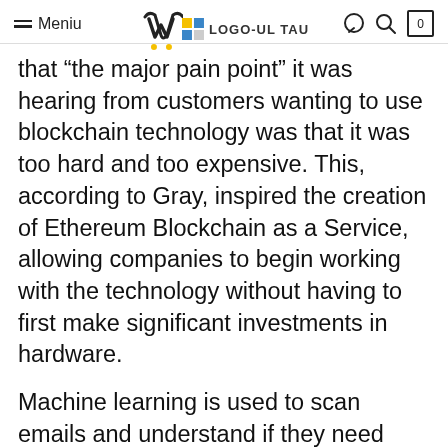≡ Meniu | LOGO-UL TAU
that “the major pain point” it was hearing from customers wanting to use blockchain technology was that it was too hard and too expensive. This, according to Gray, inspired the creation of Ethereum Blockchain as a Service, allowing companies to begin working with the technology without having to first make significant investments in hardware.
Machine learning is used to scan emails and understand if they need replying to or not, before creating three response options. An email asking about vacation plans, for